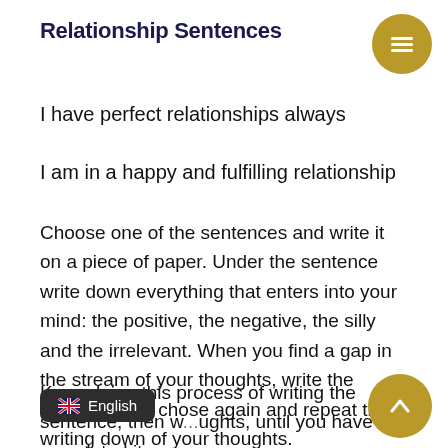Relationship Sentences
I have perfect relationships always
I am in a happy and fulfilling relationship
Choose one of the sentences and write it on a piece of paper. Under the sentence write down everything that enters into your mind: the positive, the negative, the silly and the irrelevant. When you find a gap in the stream of your thoughts, write the sentence you chose again and repeat the writing down of your thoughts.
Keep doing this process of writing the sentence, then w...ughts, until you have completed it